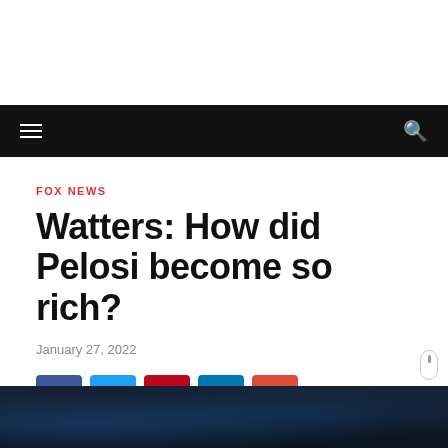Navigation bar with hamburger menu and search icon
FOX NEWS
Watters: How did Pelosi become so rich?
January 27, 2022
[Figure (other): Social sharing buttons: Facebook, Twitter, Pinterest, LinkedIn, Google+]
[Figure (photo): Bottom portion of article page showing a dark image, likely a TV screenshot or news video thumbnail]